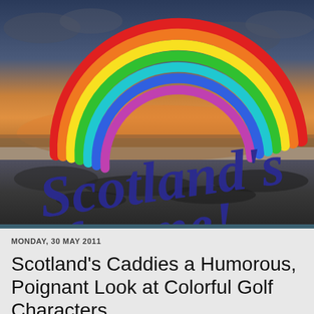[Figure (photo): Scotland's For Me blog header image: a scenic coastal sunset photo with a rainbow overlaid and decorative cursive text reading 'Scotland's for me!' in dark purple/navy over the image.]
MONDAY, 30 MAY 2011
Scotland's Caddies a Humorous, Poignant Look at Colorful Golf Characters